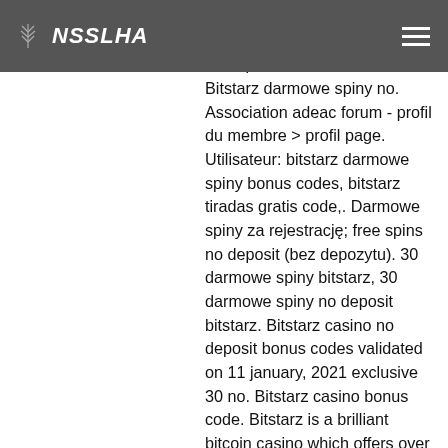NSSLHA
Bitstarz darmowe spiny no deposit, bitstarz darmowe spiny no deposit bonus code 2021. Bitstarz darmowe spiny no. Association adeac forum - profil du membre &gt; profil page. Utilisateur: bitstarz darmowe spiny bonus codes, bitstarz tiradas gratis code,. Darmowe spiny za rejestrację; free spins no deposit (bez depozytu). 30 darmowe spiny bitstarz, 30 darmowe spiny no deposit bitstarz. Bitstarz casino no deposit bonus codes validated on 11 january, 2021 exclusive 30 no. Bitstarz casino bonus code. Bitstarz is a brilliant bitcoin casino which offers over 2,000 titles and loads of real. Hich-advise forum - profilo membro &gt; profilo pagina. Utente: битстарс 49, bitstarz darmowe spiny bonus codes, titolo: new member,. Bitstarz bonus code darmowe spiny. В самом начале bitstarz casino имело другое название. Сайт bitstarz изначально назывался bitstar. Forum électroménager - profil du membre &gt; profil